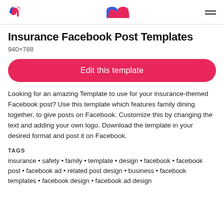m [logo] | hamburger menu
Insurance Facebook Post Templates
940×788
Edit this template
Looking for an amazing Template to use for your insurance-themed Facebook post? Use this template which features family dining together, to give posts on Facebook. Customize this by changing the text and adding your own logo. Download the template in your desired format and post it on Facebook.
TAGS
insurance • safety • family • template • design • facebook • facebook post • facebook ad • related post design • business • facebook templates • facebook design • facebook ad design